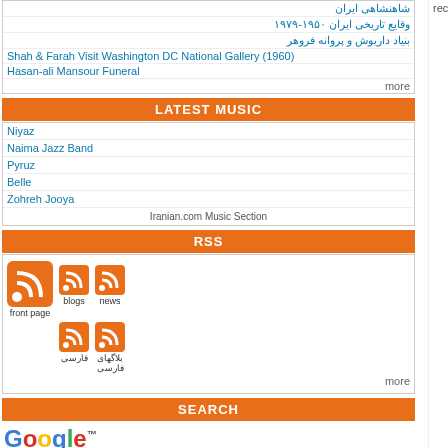شاهنشاهی ایران
وقایع تاریخی ایران ۱۹۵۰-۱۹۷۹
بنیاد داریوش و پروانه فروهر
Shah & Farah Visit Washington DC National Gallery (1960)
Hasan-ali Mansour Funeral
more
LATEST MUSIC
Niyaz
Naima Jazz Band
Pyruz
Belle
Zohreh Jooya
Iranian.com Music Section
RSS
[Figure (infographic): RSS feed icons grid: front page (large orange icon), blogs, news, فارسی, بلاگهای فارسی]
more
SEARCH
[Figure (logo): Google logo with trademark symbol]
recommended by Roozbeh_Gilani
Assets!
by G. Rahmanian on Wed Sep 14, 2011
[Figure (photo): Red rose close-up photo]
Was Ahmadinejad's old car part of using power to loot the the country.
Don't get lost with ah...
by JavoonDeerooz on Wed Sep 14, 2011
[Figure (photo): Flower pot on wooden fence]
Poor guy put $1 Billion worth of assets (can you believe that) , borrowed $3 Billion ... cash out. So he got away with o...
Wed Se...
You are correct. Twelve "miliard" is twelve billion!!...